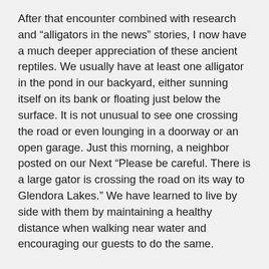After that encounter combined with research and “algators in the news” stories, I now have a much deeper appreciation of these ancient reptiles. We usually have at least one alligator in the pond in our backyard, either sunning itself on its bank or floating just below the surface. It is not unusual to see one crossing the road or even lounging in a doorway or an open garage. Just this morning, a neighbor posted on our Next “Please be careful. There is a large gator is crossing the road on its way to Glendora Lakes.” We have learned to live by side with them by maintaining a healthy distance when walking near water and encouraging our guests to do the same.
Ever since her move to Colorado in 2003, our daughter Julie has shared with us her frequent close encounters with Rocky Mountain wildlife. In her first month there, she had to detour to avoid a brown bear who was helping itself to an unlatched garbage bin. Stories of other unexpected meet-ups with more bears, as well as elk, moose, fox, and coyotes, have always